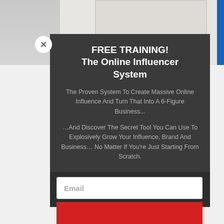[Figure (screenshot): Background showing top of a webpage with a person wearing white and a modal popup overlay]
FREE TRAINING!
The Online Influencer System
The Proven System To Create Massive Online Influence And Turn That Into A 6-Figure Business...
…And Discover The Secret Tool You Can Use To Explosively Grow Your Influence, Brand And Business… No Matter If You're Just Starting From Scratch.
Email